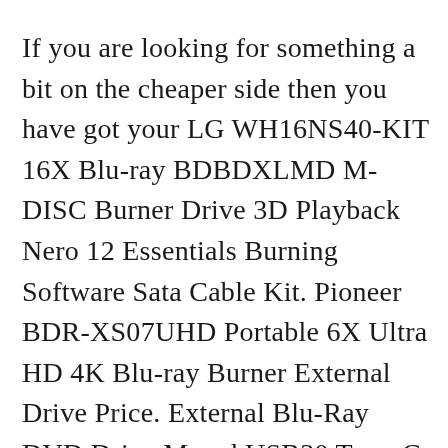If you are looking for something a bit on the cheaper side then you have got your LG WH16NS40-KIT 16X Blu-ray BDBDXLMD M-DISC Burner Drive 3D Playback Nero 12 Essentials Burning Software Sata Cable Kit. Pioneer BDR-XS07UHD Portable 6X Ultra HD 4K Blu-ray Burner External Drive Price. External Blu-Ray DVD Drive Maerd USB30 Type-C 3D Portable Blu Ray Player CD DVD RW Burner 6X Slim Optical Bluray DVD Player for Windows XP7810 Laptop Desktop